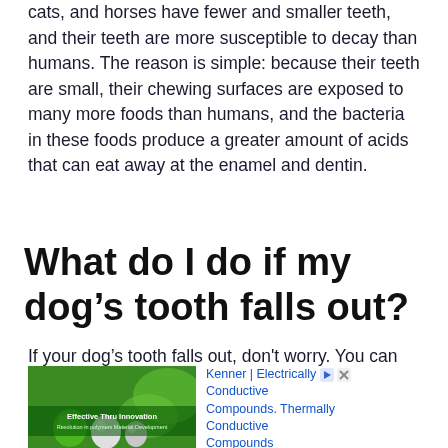cats, and horses have fewer and smaller teeth, and their teeth are more susceptible to decay than humans. The reason is simple: because their teeth are small, their chewing surfaces are exposed to many more foods than humans, and the bacteria in these foods produce a greater amount of acids that can eat away at the enamel and dentin.
What do I do if my dog’s tooth falls out?
If your dog’s tooth falls out, don't worry. You can replace a dog's tooth for $20 to $25.
[Figure (other): Advertisement banner with green background showing polymer beads and text 'Effective Thru Innovation / Revolution in polymers Material Development' alongside ad text for Kenner Electrically Conductive Compounds and Thermally Conductive Compounds]